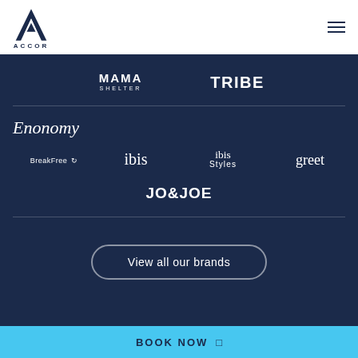[Figure (logo): Accor logo with stylized 'A' icon and ACCOR text in navy]
[Figure (logo): MAMA SHELTER brand logo in white on dark navy]
[Figure (logo): TRIBE brand logo in bold white text on dark navy]
Enonomy
[Figure (logo): BreakFree brand logo in white on dark navy]
[Figure (logo): ibis brand logo in white on dark navy]
[Figure (logo): ibis Styles brand logo in white on dark navy]
[Figure (logo): greet brand logo in white on dark navy]
[Figure (logo): JO&JOE brand logo in bold white on dark navy]
View all our brands
BOOK NOW